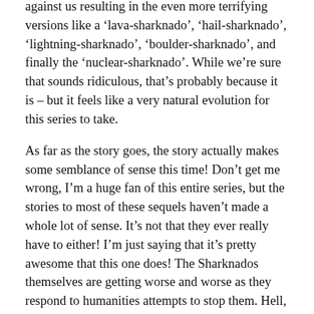against us resulting in the even more terrifying versions like a 'lava-sharknado', 'hail-sharknado', 'lightning-sharknado', 'boulder-sharknado', and finally the 'nuclear-sharknado'. While we're sure that sounds ridiculous, that's probably because it is – but it feels like a very natural evolution for this series to take.
As far as the story goes, the story actually makes some semblance of sense this time! Don't get me wrong, I'm a huge fan of this entire series, but the stories to most of these sequels haven't made a whole lot of sense. It's not that they ever really have to either! I'm just saying that it's pretty awesome that this one does! The Sharknados themselves are getting worse and worse as they respond to humanities attempts to stop them. Hell, the last one gave us sharks in space! Before they even hit the opening credits, 'Sharknado: The 4th Awakens' gives us one of the best opening action sequences in recent memory. I don't want to get too into it and ruin anything for you, but it may or may not involve a Sharknado, carnival rides, and sailing